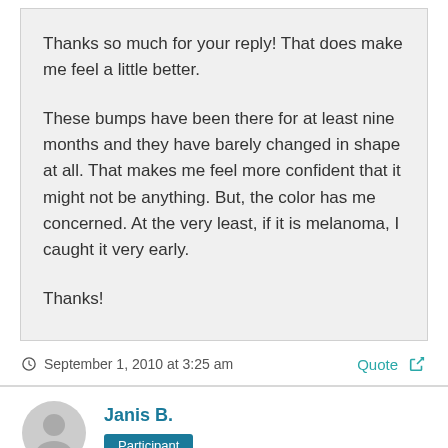Thanks so much for your reply! That does make me feel a little better.

These bumps have been there for at least nine months and they have barely changed in shape at all. That makes me feel more confident that it might not be anything. But, the color has me concerned. At the very least, if it is melanoma, I caught it very early.

Thanks!
September 1, 2010 at 3:25 am
Quote
Janis B.
Participant